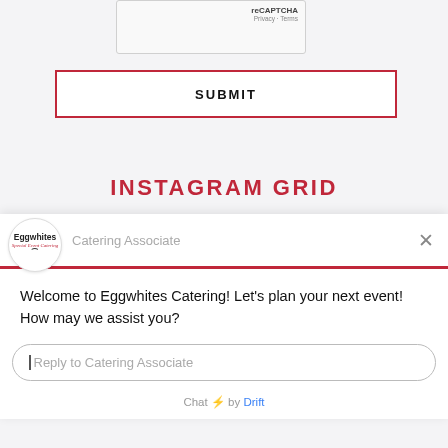[Figure (screenshot): reCAPTCHA widget showing 'reCAPTCHA', 'Privacy', 'Terms' links in the top-right of a form]
SUBMIT
INSTAGRAM GRID
[Figure (screenshot): Drift chat widget overlay showing Eggwhites Catering logo, 'Catering Associate' label, close button, welcome message, and reply input field]
Welcome to Eggwhites Catering! Let's plan your next event! How may we assist you?
Reply to Catering Associate
Chat ⚡ by Drift